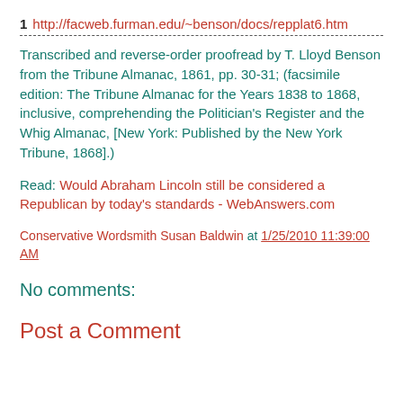1 http://facweb.furman.edu/~benson/docs/repplat6.htm
Transcribed and reverse-order proofread by T. Lloyd Benson from the Tribune Almanac, 1861, pp. 30-31; (facsimile edition: The Tribune Almanac for the Years 1838 to 1868, inclusive, comprehending the Politician's Register and the Whig Almanac, [New York: Published by the New York Tribune, 1868].)
Read: Would Abraham Lincoln still be considered a Republican by today's standards - WebAnswers.com
Conservative Wordsmith Susan Baldwin at 1/25/2010 11:39:00 AM
No comments:
Post a Comment